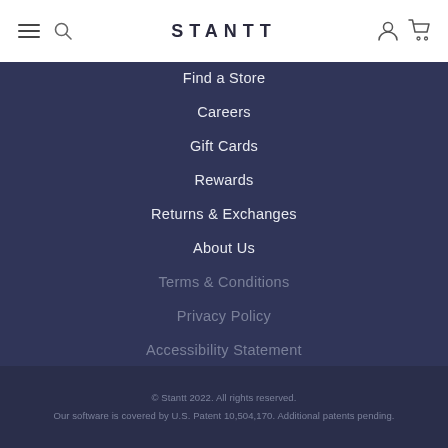STANTT
Find a Store
Careers
Gift Cards
Rewards
Returns & Exchanges
About Us
Terms & Conditions
Privacy Policy
Accessibility Statement
© Stantt 2022. All rights reserved. Our software is covered by U.S. Patent 10,504,170. Additional patents pending.